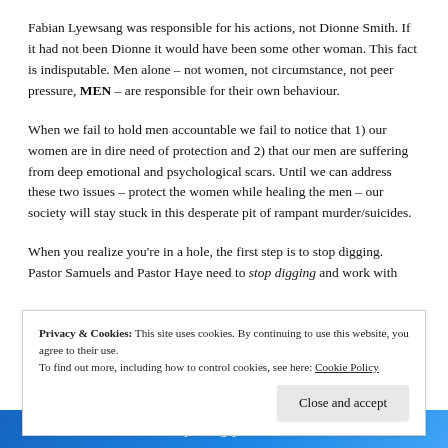Fabian Lyewsang was responsible for his actions, not Dionne Smith. If it had not been Dionne it would have been some other woman. This fact is indisputable. Men alone – not women, not circumstance, not peer pressure, MEN – are responsible for their own behaviour.
When we fail to hold men accountable we fail to notice that 1) our women are in dire need of protection and 2) that our men are suffering from deep emotional and psychological scars. Until we can address these two issues – protect the women while healing the men – our society will stay stuck in this desperate pit of rampant murder/suicides.
When you realize you're in a hole, the first step is to stop digging. Pastor Samuels and Pastor Haye need to stop digging and work with
Privacy & Cookies: This site uses cookies. By continuing to use this website, you agree to their use.
To find out more, including how to control cookies, see here: Cookie Policy
Close and accept
[Figure (other): Blue banner at the bottom with white text partially visible reading 'everything you need']